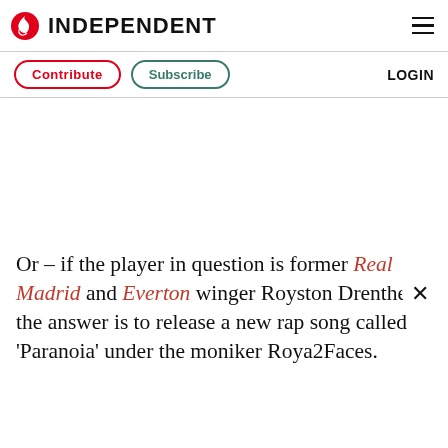INDEPENDENT
Contribute  Subscribe  LOGIN
Or – if the player in question is former Real Madrid and Everton winger Royston Drenthe – the answer is to release a new rap song called 'Paranoia' under the moniker Roya2Faces.